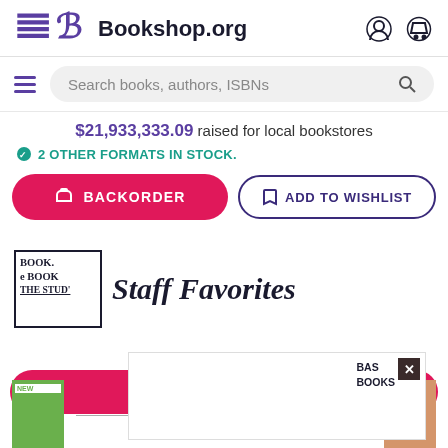Bookshop.org
Search books, authors, ISBNs
$21,933,333.09 raised for local bookstores
2 OTHER FORMATS IN STOCK.
BACKORDER
ADD TO WISHLIST
Staff Favorites
[Figure (screenshot): Book cover thumbnails and a popup ad overlay showing BAS BOOKS with a close button]
BOOK. e BOOK THE STUD'